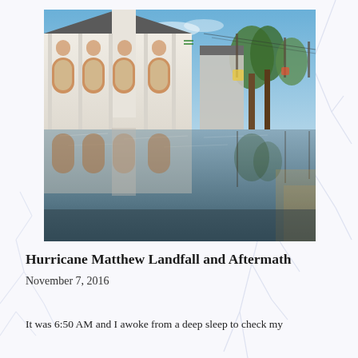[Figure (photo): Flooded street scene showing a white church building with arched windows reflected in floodwaters, with trees and utility poles in background under blue sky]
Hurricane Matthew Landfall and Aftermath
November 7, 2016
It was 6:50 AM and I awoke from a deep sleep to check my